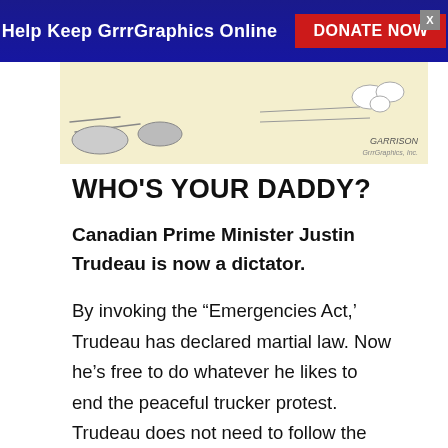Help Keep GrrrGraphics Online  DONATE NOW
[Figure (illustration): Partial view of a political cartoon with cream/tan background, showing the bottom portion of an illustration. The signature 'GARRISON' and copyright line are visible in the lower right.]
WHO'S YOUR DADDY?
Canadian Prime Minister Justin Trudeau is now a dictator.
By invoking the “Emergencies Act,’ Trudeau has declared martial law. Now he’s free to do whatever he likes to end the peaceful trucker protest. Trudeau does not need to follow the law because now he IS the law. The media